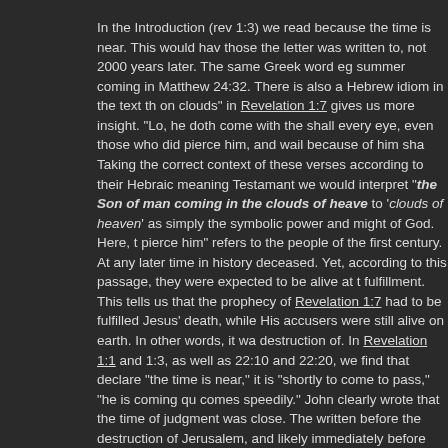In the Introduction (rev 1:3) we read because the time is near. This would have those the letter was written to, not 2000 years later. The same Greek word eg summer coming in Matthew 24:32. There is also a Hebrew idiom in the text th on clouds" in Revelation 1:7 gives us more insight. "Lo, he doth come with the shall every eye, even those who did pierce him, and wail because of him sha Taking the correct context of these verses according to their Hebraic meaning Testamant we would interpret "the Son of man coming in the clouds of heave to 'clouds of heaven' as simply the symbolic power and might of God. Here, t pierce him" refers to the people of the first century. At any later time in history deceased. Yet, according to this passage, they were expected to be alive at t fulfillment. This tells us that the prophecy of Revelation 1:7 had to be fulfilled Jesus' death, while His accusers were still alive on earth. In other words, it wa destruction of. In Revelation 1:1 and 1:3, as well as 22:10 and 22:20, we find that declare "the time is near," it is "shortly to come to pass," "he is coming qu comes speedily." John clearly wrote that the time of judgment was close. The written before the destruction of Jerusalem, and likely immediately before whi delay of the delivery. Lastly, Temple language in Revelation 11 suggests that before the destruction of AD 70.
#4: Influence of the Jews and Judaizing Heretics
let's consider the activity of the Jewish leaders and Judaizers in the Church